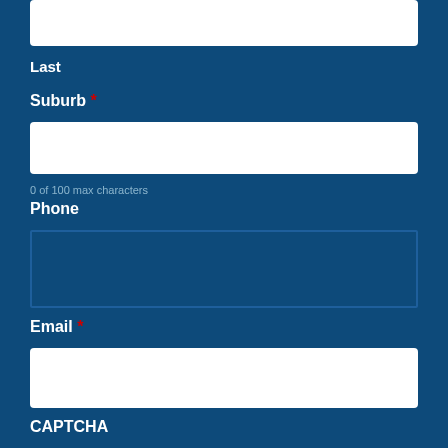[Figure (other): Partial top input field (white box, top of page, cropped)]
Last
Suburb *
[Figure (other): White input box for Suburb field]
0 of 100 max characters
Phone
[Figure (other): Outlined (transparent with border) input box for Phone field]
Email *
[Figure (other): White input box for Email field]
CAPTCHA
[Figure (other): reCAPTCHA widget with checkbox, 'I'm not a robot' text, reCAPTCHA logo, Privacy and Terms links]